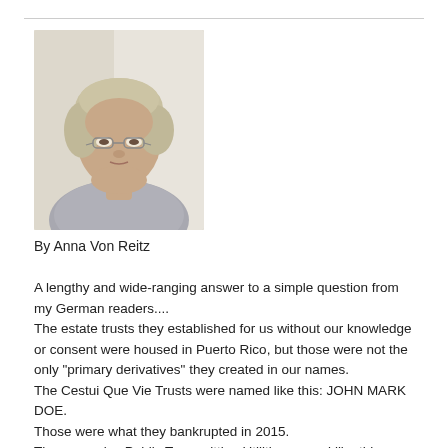[Figure (photo): Headshot photo of an older woman with short grey-blonde hair and glasses, wearing a grey top, looking directly at the camera against a light background.]
By Anna Von Reitz
A lengthy and wide-ranging answer to a simple question from my German readers....
The estate trusts they established for us without our knowledge or consent were housed in Puerto Rico, but those were not the only "primary derivatives" they created in our names.
The Cestui Que Vie Trusts were named like this: JOHN MARK DOE.
Those were what they bankrupted in 2015.
There are also Public Transmitting Utilities named like this: JOHN M DOE.  That is what they are using to mis-address us now.
And then this is also a Public Charitable Trust designation that is also ...